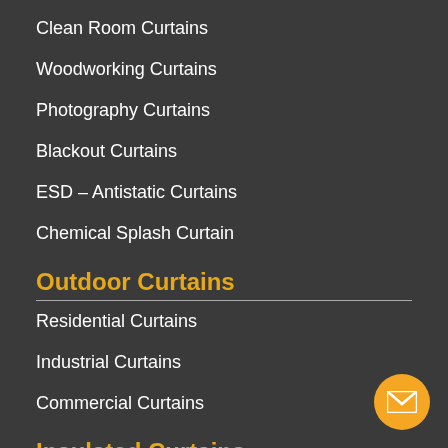Clean Room Curtains
Woodworking Curtains
Photography Curtains
Blackout Curtains
ESD – Antistatic Curtains
Chemical Splash Curtain
Outdoor Curtains
Residential Curtains
Industrial Curtains
Commercial Curtains
Insulated Curtains
Insulated Curtain Walls